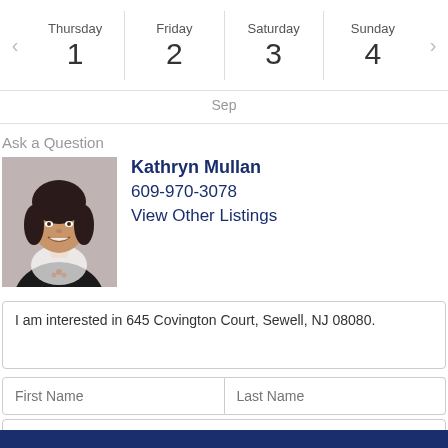| Thursday 1 | Friday 2 | Saturday 3 | Sunday 4 |
| --- | --- | --- | --- |
Sep
Ask a Question
[Figure (photo): Headshot photo of Kathryn Mullan, a real estate agent with dark hair, smiling.]
Kathryn Mullan
609-970-3078
View Other Listings
I am interested in 645 Covington Court, Sewell, NJ 08080.
First Name
Last Name
Phone
email@example.com